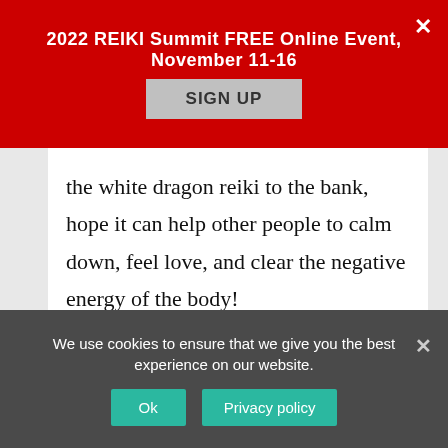2022 REIKI Summit FREE Online Event, November 11-16
SIGN UP
the white dragon reiki to the bank, hope it can help other people to calm down, feel love, and clear the negative energy of the body!
Reply
We use cookies to ensure that we give you the best experience on our website.
Ok
Privacy policy